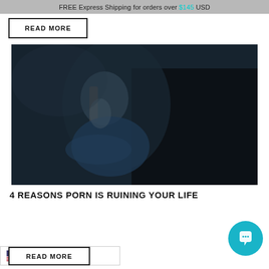FREE Express Shipping for orders over $145 USD
READ MORE
[Figure (photo): A man sitting in the dark, illuminated by a phone or device screen, holding a phone close to his face in a dimly lit room.]
4 REASONS PORN IS RUINING YOUR LIFE
USD
READ MORE